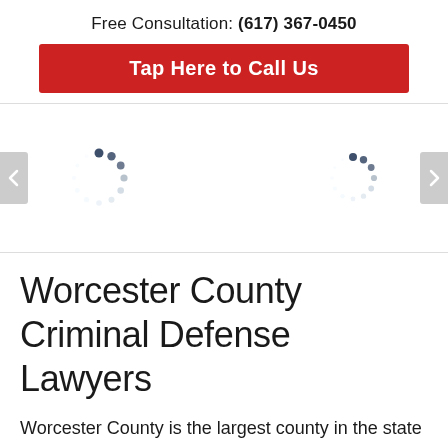Free Consultation: (617) 367-0450
Tap Here to Call Us
[Figure (screenshot): Image carousel section with two loading spinner icons (circular dashed spinners in dark blue/grey) centered in a white area, flanked by left and right navigation arrows on grey rounded rectangle buttons.]
Worcester County Criminal Defense Lawyers
Worcester County is the largest county in the state of Massachusetts. As of the 2010 census, the county had a population of 798,552. The